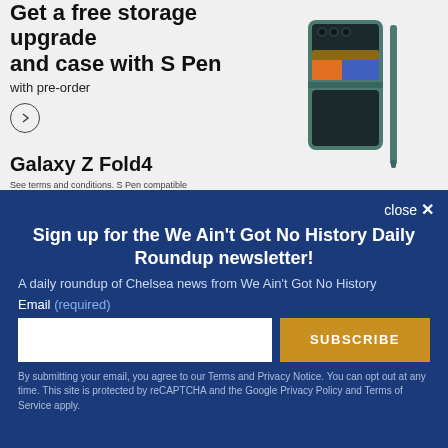[Figure (advertisement): Samsung Galaxy Z Fold4 advertisement showing phone with S Pen and case. Text: 'Get a free storage upgrade and case with S Pen with pre-order'. Product name: Galaxy Z Fold4. Fine print: 'See terms and conditions. S Pen compatible only with Galaxy Z Fold4 main display.']
close ✕
Sign up for the We Ain't Got No History Daily Roundup newsletter!
A daily roundup of Chelsea news from We Ain't Got No History
Email (required)
SUBSCRIBE
By submitting your email, you agree to our Terms and Privacy Notice. You can opt out at any time. This site is protected by reCAPTCHA and the Google Privacy Policy and Terms of Service apply.